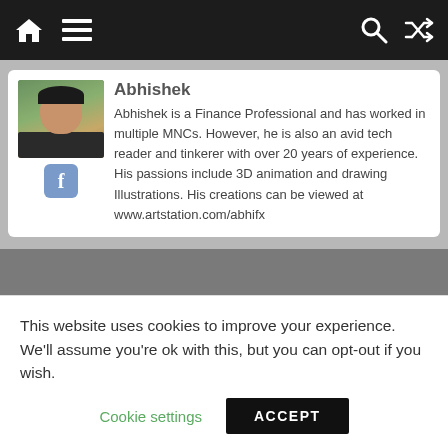Navigation bar with home, menu, search, and shuffle icons
[Figure (photo): Author photo of Abhishek, a young man, with a Facebook icon button below the photo]
Abhishek is a Finance Professional and has worked in multiple MNCs. However, he is also an avid tech reader and tinkerer with over 20 years of experience. His passions include 3D animation and drawing Illustrations. His creations can be viewed at www.artstation.com/abhifx
[Figure (infographic): Social share buttons row: Facebook (blue), Twitter (blue), Email (blue envelope), and Add (blue plus) buttons]
This website uses cookies to improve your experience. We'll assume you're ok with this, but you can opt-out if you wish.
Cookie settings   ACCEPT